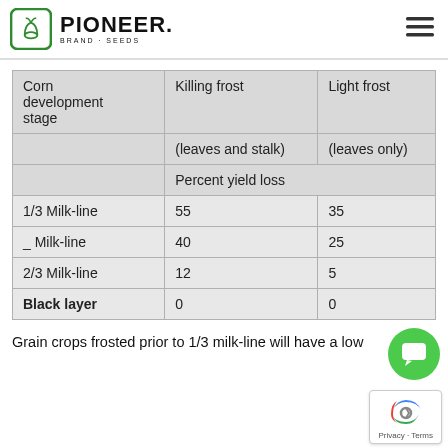PIONEER BRAND SEEDS
| Corn development stage | Killing frost | Light frost |
| --- | --- | --- |
|  | (leaves and stalk) | (leaves only) |
|  | Percent yield loss |  |
| 1/3 Milk-line | 55 | 35 |
| _ Milk-line | 40 | 25 |
| 2/3 Milk-line | 12 | 5 |
| Black layer | 0 | 0 |
Grain crops frosted prior to 1/3 milk-line will have a low